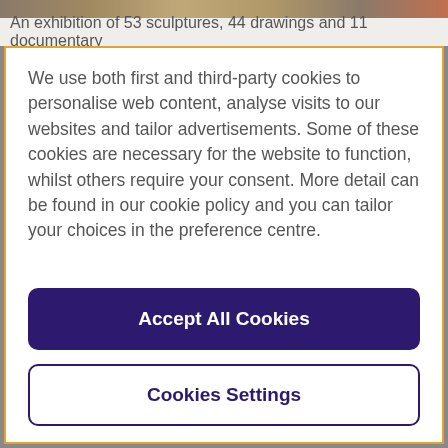[Figure (photo): Partial photo strip at top of page showing artwork or sculptures]
An exhibition of 53 sculptures, 44 drawings and 11 documentary
We use both first and third-party cookies to personalise web content, analyse visits to our websites and tailor advertisements. Some of these cookies are necessary for the website to function, whilst others require your consent. More detail can be found in our cookie policy and you can tailor your choices in the preference centre.
Accept All Cookies
Cookies Settings